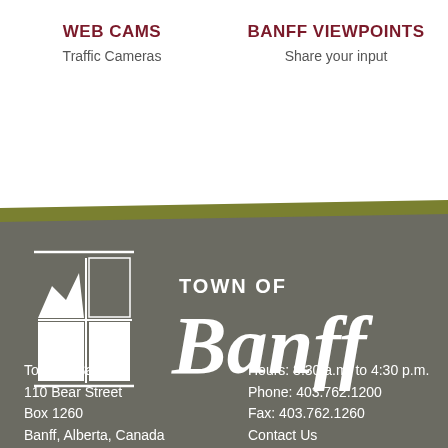WEB CAMS
Traffic Cameras
BANFF VIEWPOINTS
Share your input
[Figure (logo): Town of Banff logo — white mountain/window graphic icon on left, stylized 'TOWN OF Banff' text on right, on dark olive-grey background]
Town of Banff
110 Bear Street
Box 1260
Banff, Alberta, Canada
T1L 1A1
Hours: 8:30 a.m. to 4:30 p.m.
Phone: 403.762.1200
Fax: 403.762.1260
Contact Us